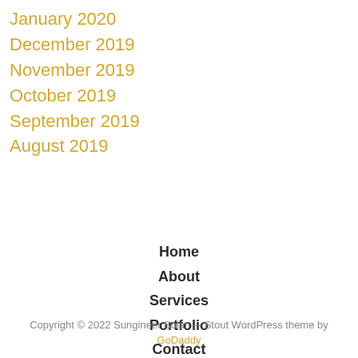January 2020
December 2019
November 2019
October 2019
September 2019
August 2019
Home
About
Services
Portfolio
Contact
Copyright © 2022 Sungineer Solar — Stout WordPress theme by GoDaddy